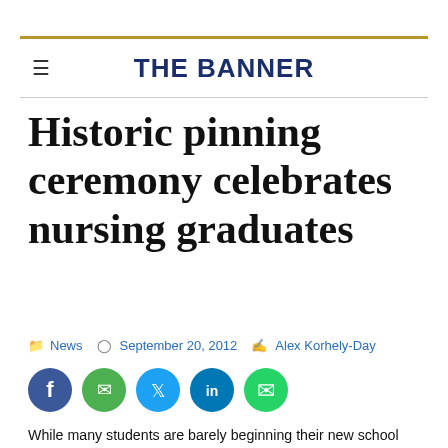THE BANNER
Historic pinning ceremony celebrates nursing graduates
News  September 20, 2012  Alex Korhely-Day
[Figure (illustration): Social media sharing icons: Facebook, Email, Twitter, LinkedIn, WhatsApp]
While many students are barely beginning their new school year, California Baptist University's School of Nursing held the historic pinning ceremony Sept. 12 for its recent nursing graduates.
A formal event was held for the nursing graduates in the Innovator's Auditorium located in the new Business Building